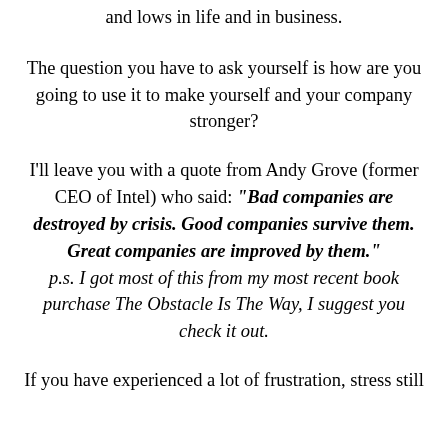and lows in life and in business.
The question you have to ask yourself is how are you going to use it to make yourself and your company stronger?
I'll leave you with a quote from Andy Grove (former CEO of Intel) who said: “Bad companies are destroyed by crisis. Good companies survive them. Great companies are improved by them.” p.s. I got most of this from my most recent book purchase The Obstacle Is The Way, I suggest you check it out.
If you have experienced a lot of frustration, stress still